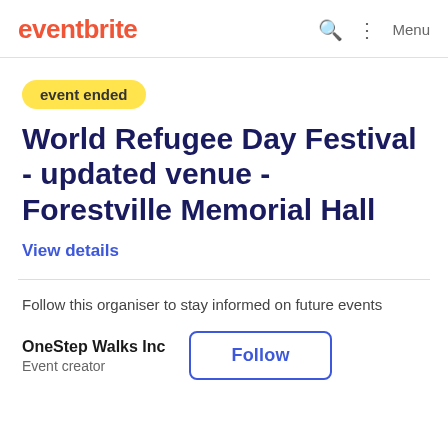eventbrite  Menu
event ended
World Refugee Day Festival - updated venue - Forestville Memorial Hall
View details
Follow this organiser to stay informed on future events
OneStep Walks Inc
Event creator
Follow